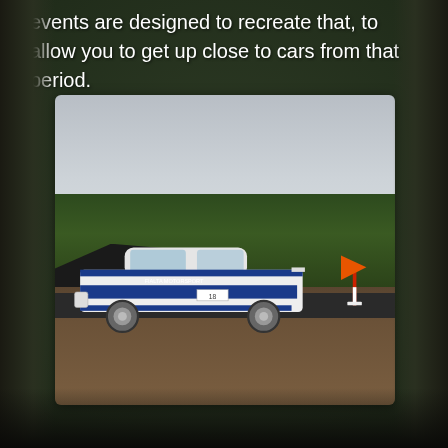events are designed to recreate that, to allow you to get up close to cars from that period.
[Figure (photo): A white and blue rally car (Ford Fiesta/Escort-style) with racing livery including 'FIALTA MOTORSPORT' text and number 18, parked on a gravel/tarmac track surface. Green hedges and dark mounds are visible in the background. An orange directional arrow sign on a red and white pole is visible on the right side.]